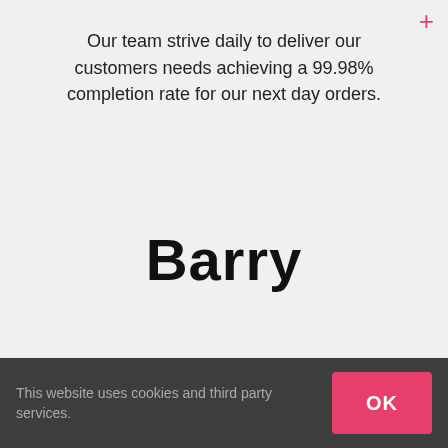Our team strive daily to deliver our customers needs achieving a 99.98% completion rate for our next day orders.
Barry
[Figure (photo): Clayton Park Bakery logo with arched text on white background, alongside a photo of a bald man looking at camera]
This website uses cookies and third party services.
OK